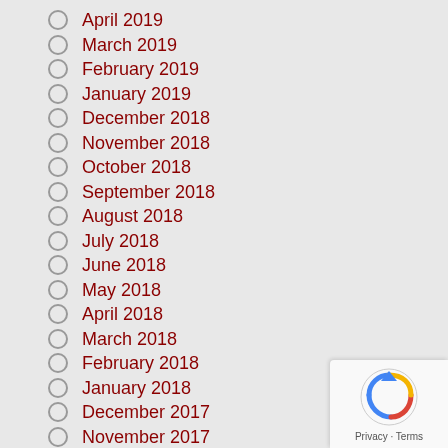April 2019
March 2019
February 2019
January 2019
December 2018
November 2018
October 2018
September 2018
August 2018
July 2018
June 2018
May 2018
April 2018
March 2018
February 2018
January 2018
December 2017
November 2017
October 2017